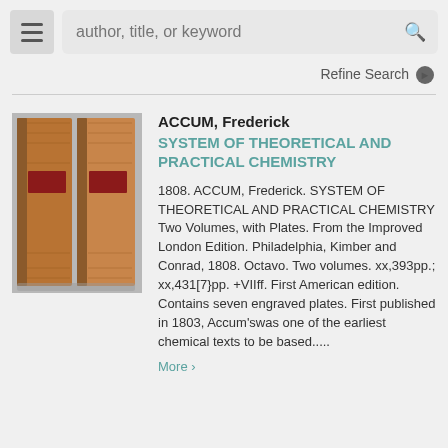author, title, or keyword  Refine Search
ACCUM, Frederick
SYSTEM OF THEORETICAL AND PRACTICAL CHEMISTRY
[Figure (photo): Two antique leather-bound volumes of Accum's System of Theoretical and Practical Chemistry, brown leather with red label on spine]
1808. ACCUM, Frederick. SYSTEM OF THEORETICAL AND PRACTICAL CHEMISTRY Two Volumes, with Plates. From the Improved London Edition. Philadelphia, Kimber and Conrad, 1808. Octavo. Two volumes. xx,393pp.; xx,431[7}pp. +VIIff. First American edition. Contains seven engraved plates. First published in 1803, Accum'swas one of the earliest chemical texts to be based.....
More >